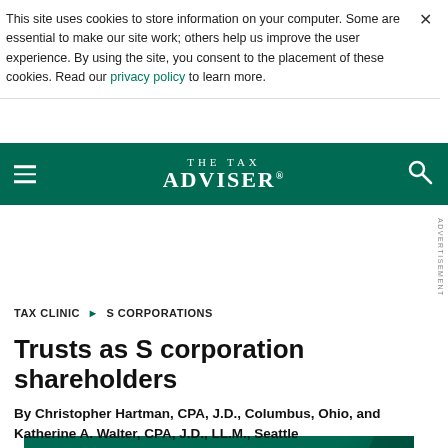This site uses cookies to store information on your computer. Some are essential to make our site work; others help us improve the user experience. By using the site, you consent to the placement of these cookies. Read our privacy policy to learn more.
THE TAX ADVISER
[Figure (advertisement): LTD advertisement banner: Up to $5,000 in monthly benefits without proof of earnings]
TAX CLINIC ▶ S CORPORATIONS
Trusts as S corporation shareholders
By Christopher Hartman, CPA, J.D., Columbus, Ohio, and Katherine A. Walter, CPA, J.D., LL.M., Seattle